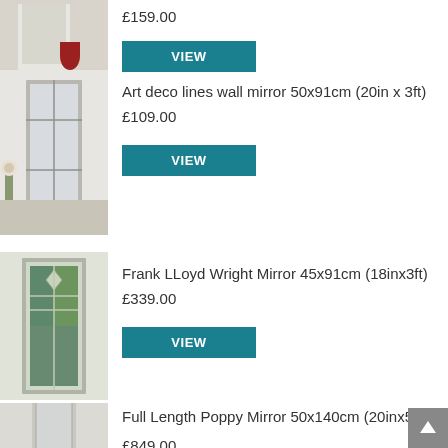[Figure (photo): Partial view of a mirror product photo showing a decorative wall mirror with a red vase on a wooden sideboard]
£159.00
VIEW
[Figure (photo): Art deco lines wall mirror 50x91cm leaning against a light wall with flowers in foreground]
Art deco lines wall mirror 50x91cm (20in x 3ft)
£109.00
VIEW
[Figure (photo): Frank LLoyd Wright Mirror 45x91cm with green stained glass panels]
Frank LLoyd Wright Mirror 45x91cm (18inx3ft)
£339.00
VIEW
[Figure (photo): Partial view of Full Length Poppy Mirror 50x140cm]
Full Length Poppy Mirror 50x140cm (20inx55in)
£849.00